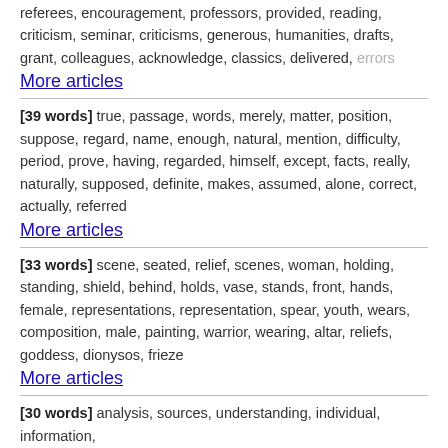referees, encouragement, professors, provided, reading, criticism, seminar, criticisms, generous, humanities, drafts, grant, colleagues, acknowledge, classics, delivered, errors
More articles
[39 words] true, passage, words, merely, matter, position, suppose, regard, name, enough, natural, mention, difficulty, period, prove, having, regarded, himself, except, facts, really, naturally, supposed, definite, makes, assumed, alone, correct, actually, referred
More articles
[33 words] scene, seated, relief, scenes, woman, holding, standing, shield, behind, holds, vase, stands, front, hands, female, representations, representation, spear, youth, wears, composition, male, painting, warrior, wearing, altar, reliefs, goddess, dionysos, frieze
More articles
[30 words] analysis, sources, understanding, individual, information,